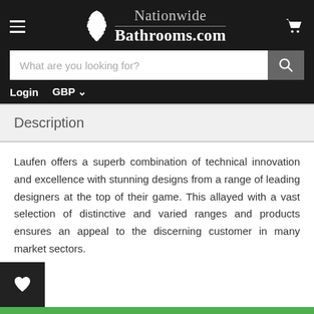Nationwide Bathrooms.com — navigation header with search bar, Login, GBP currency selector
Description
Laufen offers a superb combination of technical innovation and excellence with stunning designs from a range of leading designers at the top of their game. This allayed with a vast selection of distinctive and varied ranges and products ensures an appeal to the discerning customer in many market sectors.